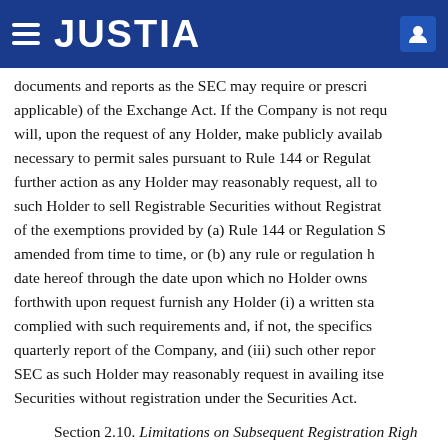JUSTIA
documents and reports as the SEC may require or prescribe applicable) of the Exchange Act. If the Company is not required will, upon the request of any Holder, make publicly available necessary to permit sales pursuant to Rule 144 or Regulation further action as any Holder may reasonably request, all to such Holder to sell Registrable Securities without Registration of the exemptions provided by (a) Rule 144 or Regulation S amended from time to time, or (b) any rule or regulation hereof through the date upon which no Holder owns forthwith upon request furnish any Holder (i) a written statement complied with such requirements and, if not, the specifics quarterly report of the Company, and (iii) such other reports SEC as such Holder may reasonably request in availing itself Securities without registration under the Securities Act.
Section 2.10. Limitations on Subsequent Registration Rights any agreement with any holder or prospective holder of any which this company is required to register or include in